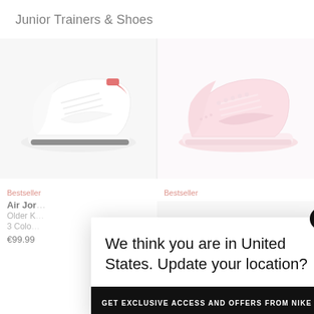Junior Trainers & Shoes
[Figure (photo): White Nike Air Jordan 1 Low sneaker with red accents, shown on light grey background]
[Figure (photo): Pink Nike Dunk Low sneaker, shown on light pink/white background]
Bestseller
Air Jor
Older K
3 Colo
€99.99
Bestseller
We think you are in United States. Update your location?
GET EXCLUSIVE ACCESS AND OFFERS FROM NIKE